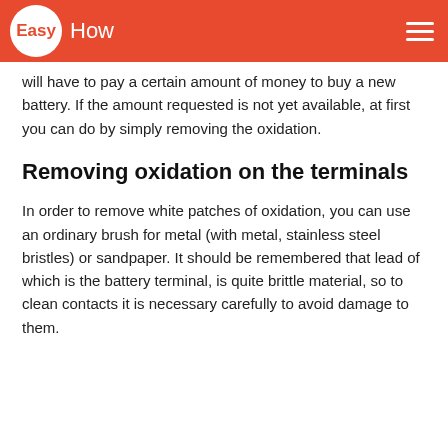EasyHow
will have to pay a certain amount of money to buy a new battery. If the amount requested is not yet available, at first you can do by simply removing the oxidation.
Removing oxidation on the terminals
In order to remove white patches of oxidation, you can use an ordinary brush for metal (with metal, stainless steel bristles) or sandpaper. It should be remembered that lead of which is the battery terminal, is quite brittle material, so to clean contacts it is necessary carefully to avoid damage to them.